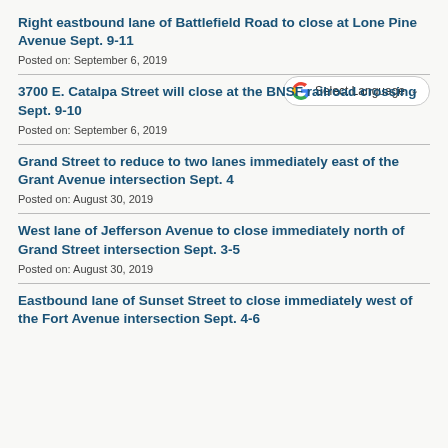Right eastbound lane of Battlefield Road to close at Lone Pine Avenue Sept. 9-11
Posted on: September 6, 2019
3700 E. Catalpa Street will close at the BNSF railroad crossing Sept. 9-10
Posted on: September 6, 2019
Grand Street to reduce to two lanes immediately east of the Grant Avenue intersection Sept. 4
Posted on: August 30, 2019
West lane of Jefferson Avenue to close immediately north of Grand Street intersection Sept. 3-5
Posted on: August 30, 2019
Eastbound lane of Sunset Street to close immediately west of the Fort Avenue intersection Sept. 4-6